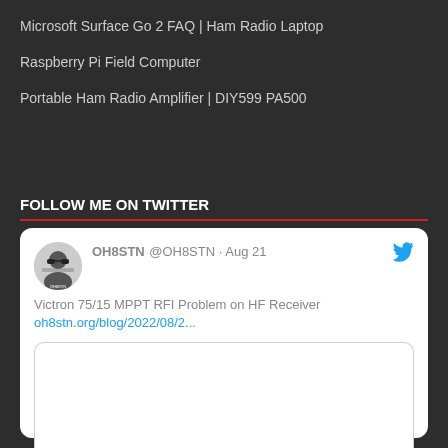Microsoft Surface Go 2 FAQ | Ham Radio Laptop
Raspberry Pi Field Computer
Portable Ham Radio Amplifier | DIY599 PA500
FOLLOW ME ON TWITTER
[Figure (screenshot): Embedded tweet from OH8STN @OH8STN dated Aug 21. Text reads: Victron 75/15 MPPT RFI Problem on HF Receiver oh8stn.org/blog/2022/08/2... With a profile avatar image and a nested image card below.]